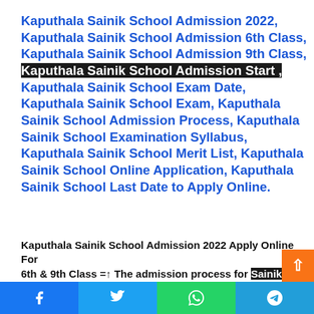Kaputhala Sainik School Admission 2022, Kaputhala Sainik School Admission 6th Class, Kaputhala Sainik School Admission 9th Class, Kaputhala Sainik School Admission Start , Kaputhala Sainik School Exam Date, Kaputhala Sainik School Exam, Kaputhala Sainik School Admission Process, Kaputhala Sainik School Examination Syllabus, Kaputhala Sainik School Merit List, Kaputhala Sainik School Online Application, Kaputhala Sainik School Last Date to Apply Online.
Kaputhala Sainik School Admission 2022 Apply Online For 6th & 9th Class =↑ The admission process for Sainik Scho...